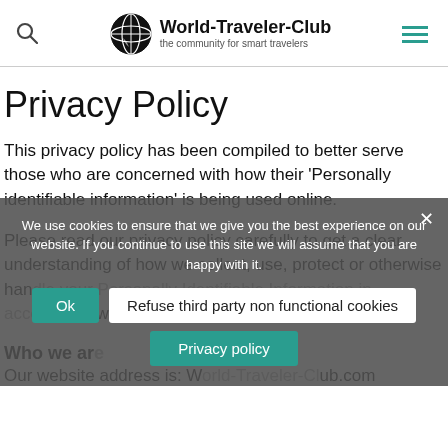World-Traveler-Club — the community for smart travelers
Privacy Policy
This privacy policy has been compiled to better serve those who are concerned with how their 'Personally identifiable information' is being used online.
Please read our privacy policy carefully to get a clear understanding of how we collect, use, protect or otherwise handle your Personally Identifiable Information in accordance with our website.
Who we are
Our website address is: World-Traveler-Club.com
We use cookies to ensure that we give you the best experience on our website. If you continue to use this site we will assume that you are happy with it.